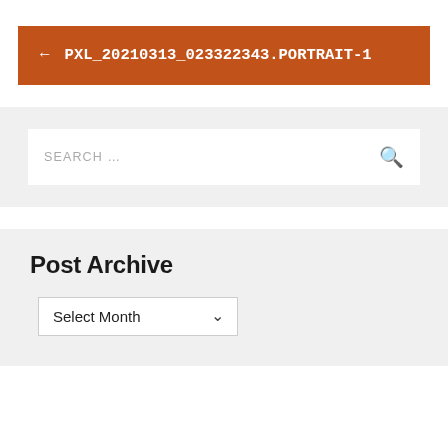← PXL_20210313_023322343.PORTRAIT-1
SEARCH ...
Post Archive
Select Month